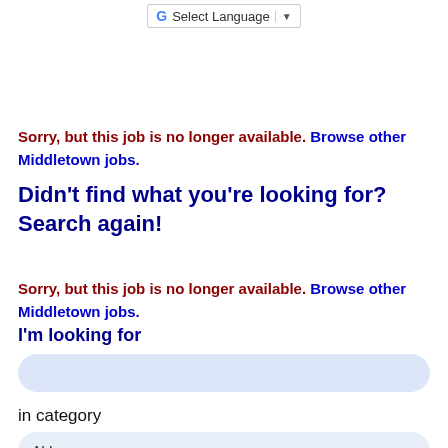[Figure (screenshot): Google Translate Select Language button with Google G logo and dropdown arrow]
Sorry, but this job is no longer available. Browse other Middletown jobs.
Didn't find what you're looking for? Search again!
Sorry, but this job is no longer available. Browse other Middletown jobs.
I'm looking for
[Figure (screenshot): Empty rounded text input field with light blue background]
in category
[Figure (screenshot): Dropdown select field showing ALL with a down arrow, rounded corners, light blue background]